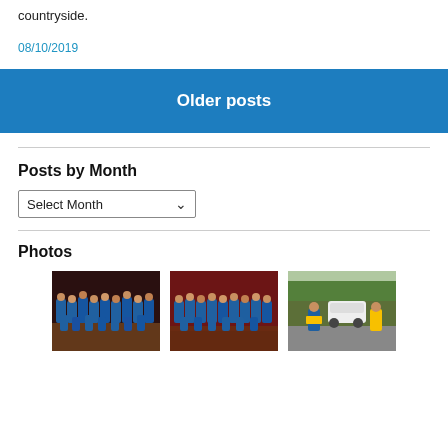countryside.
08/10/2019
Older posts
Posts by Month
Select Month
Photos
[Figure (photo): Three thumbnail photos: two group photos of people in blue shirts in a dark hall, and one outdoor photo of a person with a hi-vis jacket.]